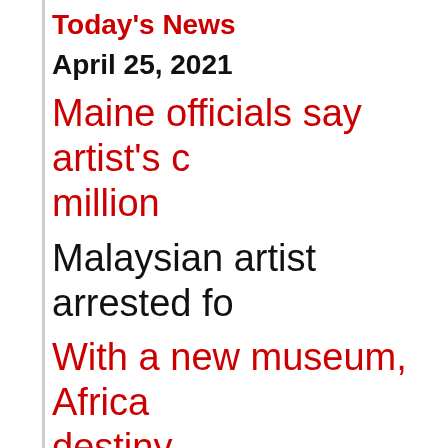Today's News
April 25, 2021
Maine officials say artist's c… million
Malaysian artist arrested fo…
With a new museum, Africa… destiny
Opera's biggest fan leaves… capsule